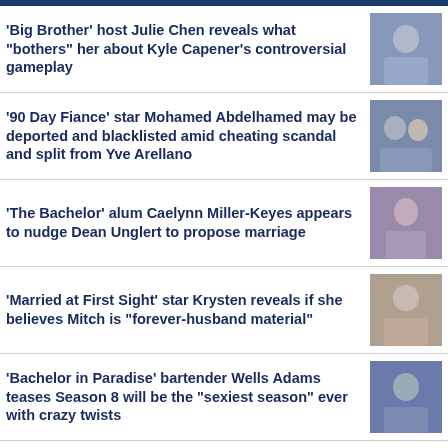'Big Brother' host Julie Chen reveals what "bothers" her about Kyle Capener's controversial gameplay
'90 Day Fiance' star Mohamed Abdelhamed may be deported and blacklisted amid cheating scandal and split from Yve Arellano
'The Bachelor' alum Caelynn Miller-Keyes appears to nudge Dean Unglert to propose marriage
'Married at First Sight' star Krysten reveals if she believes Mitch is "forever-husband material"
'Bachelor in Paradise' bartender Wells Adams teases Season 8 will be the "sexiest season" ever with crazy twists
'Married at First Sight' star Stacia reveals surprising update on her marriage to Nate
'The Bachelor' alum Peter Weber admits to "impure…